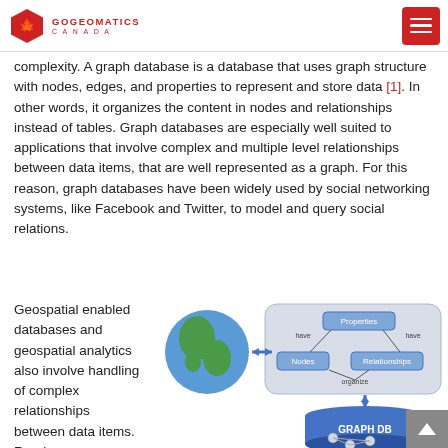GOGEOMATICS CANADA
complexity. A graph database is a database that uses graph structure with nodes, edges, and properties to represent and store data [1]. In other words, it organizes the content in nodes and relationships instead of tables. Graph databases are especially well suited to applications that involve complex and multiple level relationships between data items, that are well represented as a graph. For this reason, graph databases have been widely used by social networking systems, like Facebook and Twitter, to model and query social relations.
Geospatial enabled databases and geospatial analytics also involve handling of complex relationships between data items. Road
[Figure (infographic): Diagram showing a globe (Earth) with a double-headed arrow pointing to a graph database concept diagram. The concept diagram shows 'Properties' at top, connected by 'have' arrows to 'Nodes' (left) and 'Relationships' (right), with 'organize' arrow at bottom, all in a rounded rectangle. Below is a cylinder labeled 'GRAPH DB' with node-and-edge network graphic on it.]